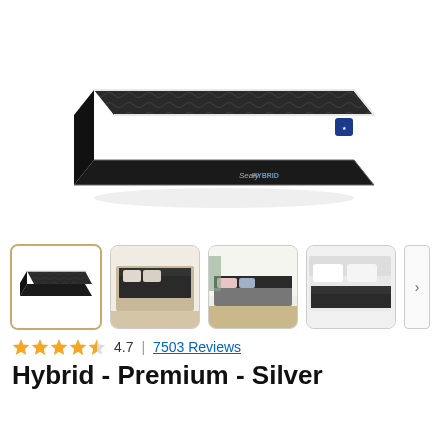[Figure (photo): Sealy Hybrid mattress product photo shown from above-angle, dark gray patterned top with black sides and white piping, Sealy Hybrid logo on side]
[Figure (photo): Four product thumbnail images: 1) mattress alone on white background (selected), 2) mattress on bed frame in room setting, 3) mattress on bed with pillows in bright room, 4) mattress on bed frame close up]
4.7 | 7503 Reviews
Hybrid - Premium - Silver